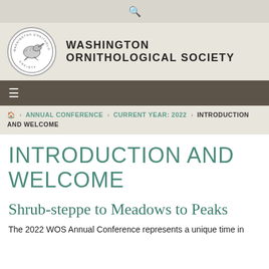🔍
[Figure (logo): Washington Ornithological Society circular logo with bird illustration and text around the border]
WASHINGTON ORNITHOLOGICAL SOCIETY
≡ (hamburger menu)
🏠 > ANNUAL CONFERENCE > CURRENT YEAR: 2022 > INTRODUCTION AND WELCOME
INTRODUCTION AND WELCOME
Shrub-steppe to Meadows to Peaks
The 2022 WOS Annual Conference represents a unique time in